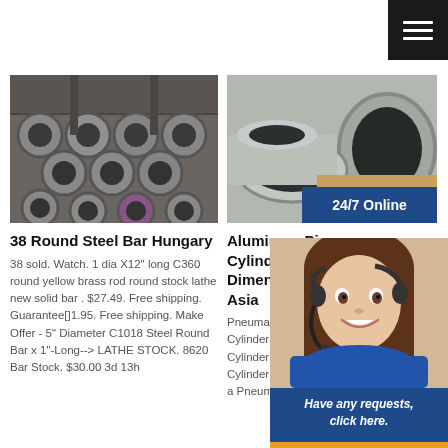[Figure (screenshot): Hamburger menu icon, white lines on dark background, top right corner]
[Figure (photo): Steel round bar pipes stacked in a warehouse]
38 Round Steel Bar Hungary
38 sold. Watch. 1 dia X12" long C360 round yellow brass rod round stock lathe new solid bar . $27.49. Free shipping. Guarantee[]1.95. Free shipping. Make Offer - 5" Diameter C1018 Steel Round Bar x 1"-Long--> LATHE STOCK. 8620 Bar Stock. $30.00 3d 13h
[Figure (photo): Aluminum pneumatic cylinder tubes, large round aluminum tubes]
Aluminum Pi Cylinder Tube Dimensions Asia
Pneumatic Cylinders are Pneumatic Cylinder Manufacturers, Pneumatic Cylinder Tubes Exporters, Pneumatic Cylinder Tubes Suppliers Directory - Find a Pneumatic Cylinder Tube
[Figure (photo): Customer service agent with headset, smiling woman, 24/7 online chat widget with Have any requests, click here. and Quotation button]